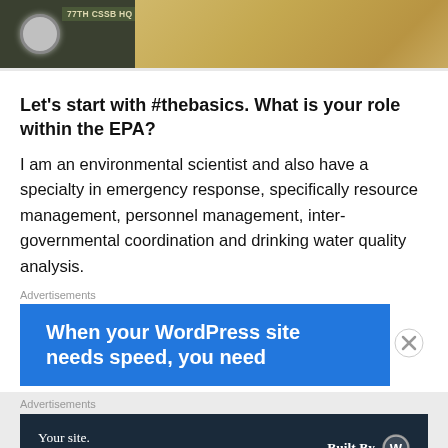[Figure (photo): Military/government vehicle (dark green) with headlight visible, parked on sandy/earthen ground with tan and brown tones. A label on the vehicle reads '77TH CSSB HQ 09'.]
Let’s start with #thebasics. What is your role within the EPA?
I am an environmental scientist and also have a specialty in emergency response, specifically resource management, personnel management, inter-governmental coordination and drinking water quality analysis.
Advertisements
[Figure (screenshot): Blue advertisement banner reading 'When your WordPress site needs speed, you need' in white bold text]
Advertisements
[Figure (screenshot): Dark navy advertisement banner reading 'Your site. Built by us. Built for you.' on the left, and 'Built By' with WordPress logo on the right]